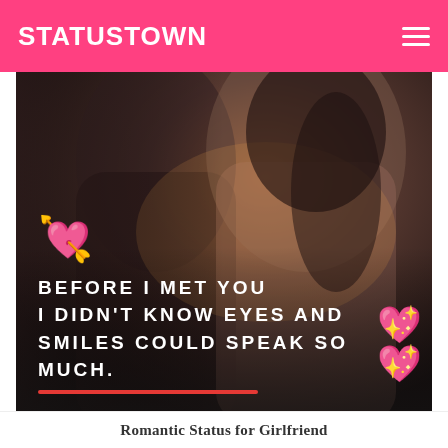STATUSTOWN
[Figure (photo): Romantic couple about to kiss, dark moody background with warm light. Overlaid text quote: BEFORE I MET YOU I DIDN'T KNOW EYES AND SMILES COULD SPEAK SO MUCH. Heart and cupid arrow emoji top left, sparkle hearts emoji bottom right.]
Romantic Status for Girlfriend